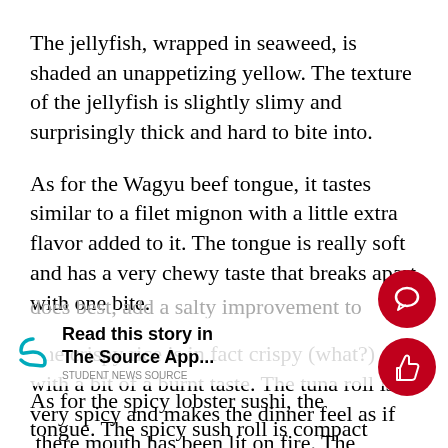The jellyfish, wrapped in seaweed, is shaded an unappetizing yellow. The texture of the jellyfish is slightly slimy and surprisingly thick and hard to bite into.
As for the Wagyu beef tongue, it tastes similar to a filet mignon with a little extra flavor added to it. The tongue is really soft and has a very chewy taste that breaks apart with one bite.
The crispy rice is in fact crispy (what?) with a bit of a burnt taste. The tuna roll is very spicy and makes the dinner feel as if  there mouth has been lit on fire. The avocado blends with the tuna in a nice way. The black caviar does what all cavia does best, add a salty improvement to the meal.
As for the spicy lobster sushi, the taste burns tongue. The spicy sush roll is compact and